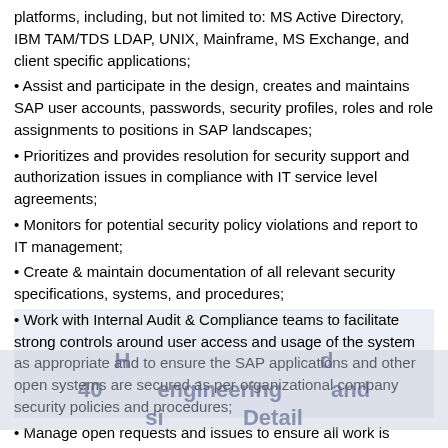platforms, including, but not limited to: MS Active Directory, IBM TAM/TDS LDAP, UNIX, Mainframe, MS Exchange, and client specific applications;
• Assist and participate in the design, creates and maintains SAP user accounts, passwords, security profiles, roles and role assignments to positions in SAP landscapes;
• Prioritizes and provides resolution for security support and authorization issues in compliance with IT service level agreements;
• Monitors for potential security policy violations and report to IT management;
• Create & maintain documentation of all relevant security specifications, systems, and procedures;
• Work with Internal Audit & Compliance teams to facilitate strong controls around user access and usage of the system as appropriate and to ensure the SAP applications and other open systems are secured as per organizational company security policies and procedures;
• Manage open requests and issues to ensure all work is delivered on time and with high quality;
• Perform security design & engineering for new solutions and implement those solutions;
• Keep process, documentation and operational improvements and best practices;
• Working with the business & project teams in developing functional specifications related to security concerns.
Other info